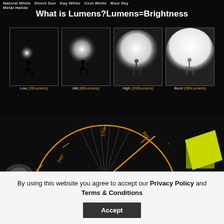[Figure (infographic): Lumens brightness comparison infographic showing four flashlight beams at different lumen levels: Low (10Lumens), Mid (80Lumens), High (200Lumens), Burst (360Lumens) on dark background. Header shows light source labels: Natural White, Direct Sun, Day White, Cool White, Blue Sky, Metal Halide. Title reads 'What is Lumens?Lumens=Brightness']
[Figure (infographic): Semi-circular angle/beam diagram on dark background showing degree markings 210, 240, 270, 300, and partial higher values, with an orange arc and beam rays, plus a yellow LED component visible on the right.]
By using this website you agree to accept our Privacy Policy and Terms & Conditions
Accept